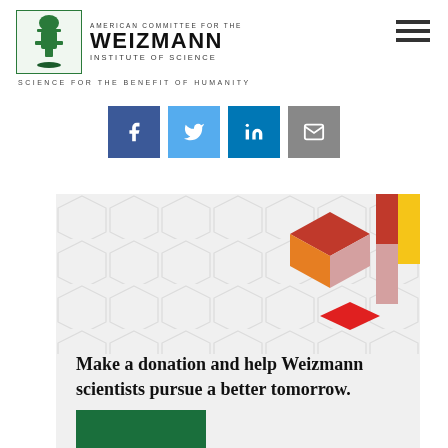[Figure (logo): American Committee for the Weizmann Institute of Science logo with emblem and text]
SCIENCE FOR THE BENEFIT OF HUMANITY
[Figure (infographic): Social sharing buttons: Facebook, Twitter, LinkedIn, Email]
[Figure (illustration): Feature card with hexagonal pattern background and colorful geometric cube shapes, followed by donation call-to-action text and green button]
Make a donation and help Weizmann scientists pursue a better tomorrow.